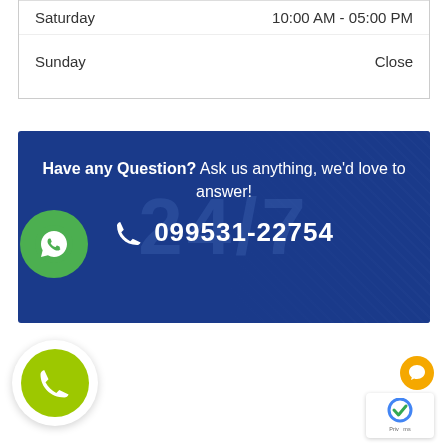| Saturday | 10:00 AM - 05:00 PM |
| Sunday | Close |
[Figure (infographic): WhatsApp floating button (green circle with WhatsApp logo), blue banner with text 'Have any Question? Ask us anything, we'd love to answer!' and phone number 099531-22754, phone call floating button (green circle with phone icon), reCAPTCHA badge, and yellow chat icon.]
Have any Question? Ask us anything, we'd love to answer!
099531-22754